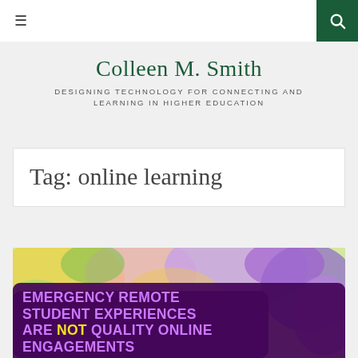≡  [search icon]
Colleen M. Smith
DESIGNING TECHNOLOGY FOR CONNECTING AND LEARNING IN HIGHER EDUCATION
Tag: online learning
[Figure (photo): Promotional graphic with colorful painted background and overlaid text on dark purple banner reading: EMERGENCY REMOTE STUDENT EXPERIENCES ARE NOT QUALITY ONLINE ENGAGEMENTS]